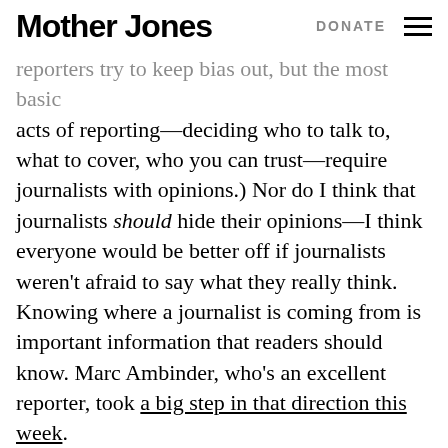Mother Jones | DONATE
reporters try to keep bias out, but the most basic acts of reporting—deciding who to talk to, what to cover, who you can trust—require journalists with opinions.) Nor do I think that journalists should hide their opinions—I think everyone would be better off if journalists weren't afraid to say what they really think. Knowing where a journalist is coming from is important information that readers should know. Marc Ambinder, who's an excellent reporter, took a big step in that direction this week.
The Daily Caller is trying to convince conservatives of something they already believe: the elite media is conspiring against them. Never mind that the journalists on Journolist were mostly liberals who